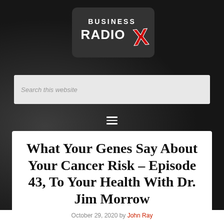[Figure (logo): Business Radio X logo — white text on dark background with red X]
[Figure (screenshot): Search this website input field]
[Figure (other): Hamburger menu icon (three horizontal lines)]
What Your Genes Say About Your Cancer Risk – Episode 43, To Your Health With Dr. Jim Morrow
October 29, 2020 by John Ray